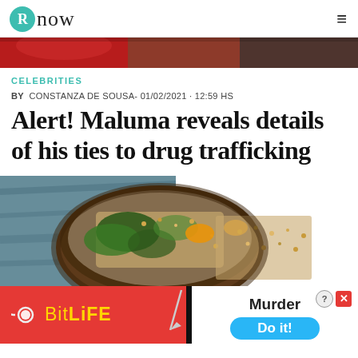Rnow
[Figure (photo): Partial top strip showing a person in red clothing, cropped banner image]
CELEBRITIES
BY  CONSTANZA DE SOUSA- 01/02/2021 · 12:59 HS
Alert! Maluma reveals details of his ties to drug trafficking
[Figure (photo): Food photograph showing a wooden bowl with grain salad, kale, and vegetables]
[Figure (other): BitLife advertisement banner with red background, sperm icon, BitLife logo in yellow, knife graphic, Murder text, and Do it button in blue]